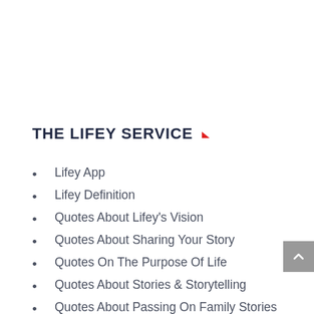THE LIFEY SERVICE
Lifey App
Lifey Definition
Quotes About Lifey's Vision
Quotes About Sharing Your Story
Quotes On The Purpose Of Life
Quotes About Stories & Storytelling
Quotes About Passing On Family Stories
Quotes About Vulnerability & Being Real
Things That Keep People From Recording Their Lifey